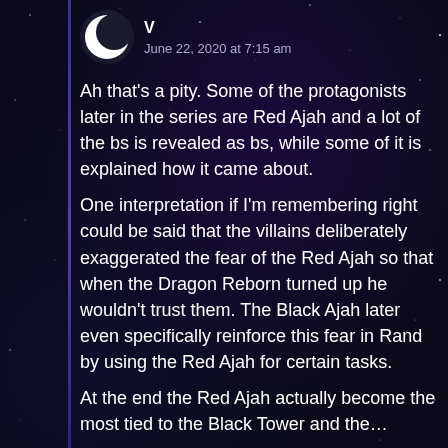V
June 22, 2020 at 7:15 am
Ah that's a pity. Some of the protagonists later in the series are Red Ajah and a lot of the bs is revealed as bs, while some of it is explained how it came about.
One interpretation if I'm remembering right could be said that the villains deliberately exaggerated the fear of the Red Ajah so that when the Dragon Reborn turned up he wouldn't trust them. The Black Ajah later even specifically reinforce this fear in Rand by using the Red Ajah for certain tasks.
At the end the Red Ajah actually become the most tied to the Black Tower and the…